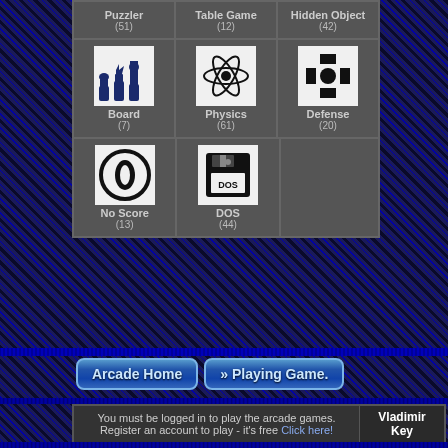[Figure (screenshot): Game category grid showing Puzzler (51), Table Game (12), Hidden Object (42) in top partial row; Board (7) with chess icon, Physics (61) with atom icon, Defense (20) with cross icon in second row; No Score (13) with circle icon and DOS (44) with floppy disk icon in third row]
[Figure (screenshot): Two navigation buttons: 'Arcade Home' and '» Playing Game.']
|  | Vladimir Key |
| --- | --- |
| You must be logged in to play the arcade games. Register an account to play - it's free Click here! |  |
Users Online in the Past 60 Minutes: (Last Click, Member Name)
Administrator
Moderator
Member
Affiliate